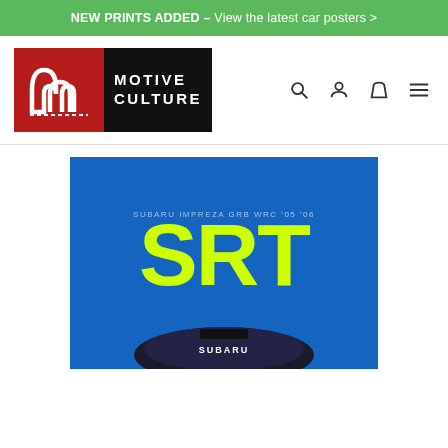NEW PRINTS ADDED – View the latest car posters >
[Figure (logo): Motive Culture logo: red left panel with white M-shaped track/road icon, black right panel with MOTIVE CULTURE text in white]
[Figure (other): Navigation icons: search (magnifier), user/account (person outline), cart/bag (shopping bag), and hamburger menu]
[Figure (illustration): Product poster preview showing a Subaru Impreza GRB WRC race car on blue background with large yellow/lime 'SRT' text and 'SUBARU' branding visible on the car's hood/front]